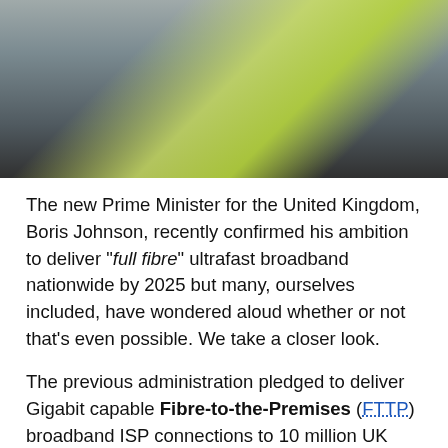[Figure (photo): Partial photo of a person wearing a high-visibility yellow vest/jacket, cropped at the top of the page]
The new Prime Minister for the United Kingdom, Boris Johnson, recently confirmed his ambition to deliver "full fibre" ultrafast broadband nationwide by 2025 but many, ourselves included, have wondered aloud whether or not that's even possible. We take a closer look.
The previous administration pledged to deliver Gigabit capable Fibre-to-the-Premises (FTTP) broadband ISP connections to 10 million UK premises by 2022, then 15 million by 2025 and they also held an aspiration for "nationwide" coverage by 2033 (here). All of this was underpinned by various regulatory and policy changes (Future Telecoms Infrastructure Review), business